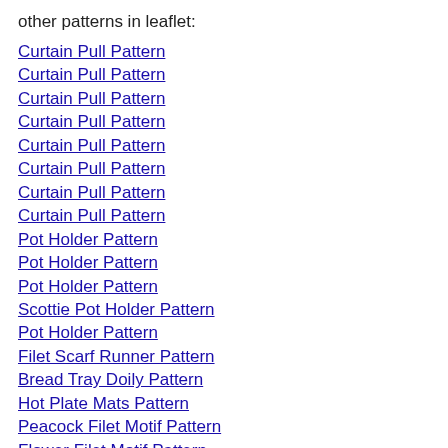other patterns in leaflet:
Curtain Pull Pattern
Curtain Pull Pattern
Curtain Pull Pattern
Curtain Pull Pattern
Curtain Pull Pattern
Curtain Pull Pattern
Curtain Pull Pattern
Curtain Pull Pattern
Pot Holder Pattern
Pot Holder Pattern
Pot Holder Pattern
Scottie Pot Holder Pattern
Pot Holder Pattern
Filet Scarf Runner Pattern
Bread Tray Doily Pattern
Hot Plate Mats Pattern
Peacock Filet Motif Pattern
Flower Filet Motif Pattern
Tree Filet Motif Pattern
Star Doily Pattern
Cottage Curtains Pattern
Curtain Tie Back Pattern
Curtain Tie Back Pattern